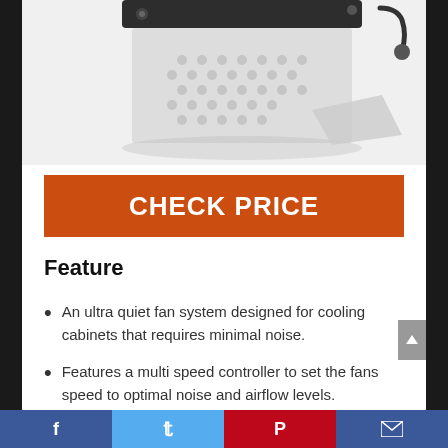[Figure (photo): Partial view of an ultra quiet cabinet cooling fan system with a gray/silver body, visible mounting hardware and cable, shown from above against a white/light background with reflection.]
CHECK PRICE
Feature
An ultra quiet fan system designed for cooling cabinets that requires minimal noise.
Features a multi speed controller to set the fans speed to optimal noise and airflow levels.